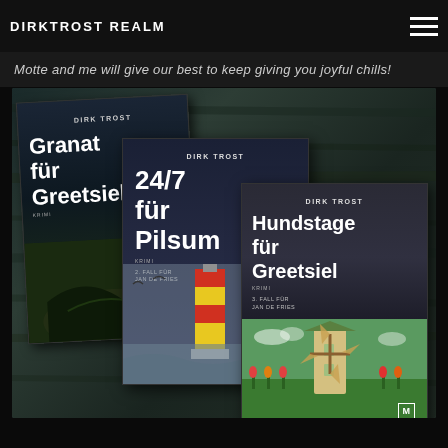DIRKTROST REALM
Motte and me will give our best to keep giving you joyful chills!
[Figure (photo): Three book covers by Dirk Trost displayed against a dark wooden background: 'Granat für Greetsiel' (left, tilted), '24/7 für Pilsum' (center), and 'Hundstage für Greetsiel' (right). Each book cover shows the author name DIRK TROST and respective title.]